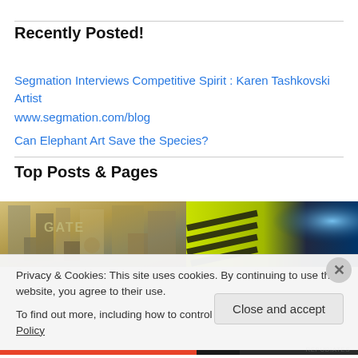Recently Posted!
Segmation Interviews Competitive Spirit : Karen Tashkovski Artist
www.segmation.com/blog
Can Elephant Art Save the Species?
Top Posts & Pages
[Figure (photo): Cubist-style painting with text 'GATE' visible, muted yellow and grey tones]
[Figure (photo): Close-up of yellow and black stripes with blue light, possibly safety tape or car detail]
Privacy & Cookies: This site uses cookies. By continuing to use this website, you agree to their use.
To find out more, including how to control cookies, see here: Cookie Policy
Close and accept